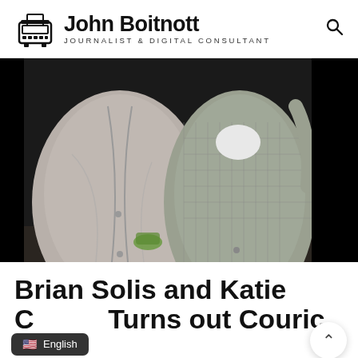John Boitnott — Journalist & Digital Consultant
[Figure (photo): Cropped photograph of two people (Brian Solis and Katie Couric) from the torso area, standing side by side. The image is in muted tones, with the left person wearing a light shirt and the right person wearing a checkered shirt. Black background on the right side.]
Brian Solis and Katie Couric Turns out Couric